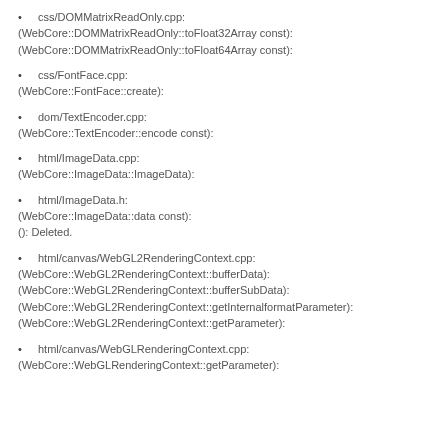css/DOMMatrixReadOnly.cpp:
(WebCore::DOMMatrixReadOnly::toFloat32Array const):
(WebCore::DOMMatrixReadOnly::toFloat64Array const):
css/FontFace.cpp:
(WebCore::FontFace::create):
dom/TextEncoder.cpp:
(WebCore::TextEncoder::encode const):
html/ImageData.cpp:
(WebCore::ImageData::ImageData):
html/ImageData.h:
(WebCore::ImageData::data const):
(): Deleted.
html/canvas/WebGL2RenderingContext.cpp:
(WebCore::WebGL2RenderingContext::bufferData):
(WebCore::WebGL2RenderingContext::bufferSubData):
(WebCore::WebGL2RenderingContext::getInternalformatParameter):
(WebCore::WebGL2RenderingContext::getParameter):
html/canvas/WebGLRenderingContext.cpp:
(WebCore::WebGLRenderingContext::getParameter):